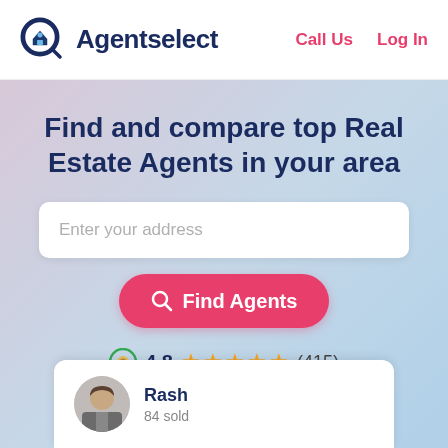Agentselect | Call Us | Log In
Find and compare top Real Estate Agents in your area
Enter your address
Find Agents
4.8 ★★★★★ (415)
Rash
84 sold